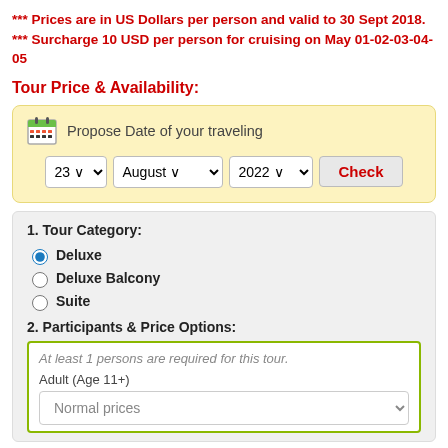*** Prices are in US Dollars per person and valid to 30 Sept 2018.
*** Surcharge 10 USD per person for cruising on May 01-02-03-04-05
Tour Price & Availability:
[Figure (screenshot): Date selection widget with calendar icon, day/month/year dropdowns (23, August, 2022) and a Check button]
1. Tour Category:
Deluxe (selected radio button)
Deluxe Balcony
Suite
2. Participants & Price Options:
At least 1 persons are required for this tour.
Adult (Age 11+)
Normal prices